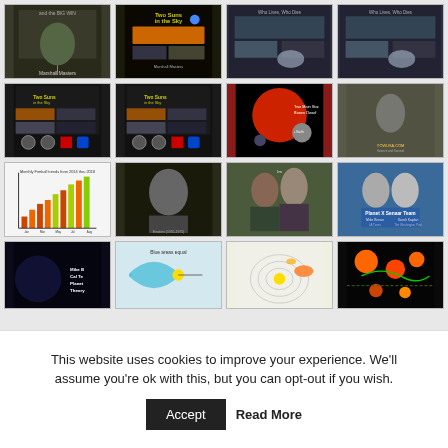[Figure (screenshot): Grid of 16 thumbnail images arranged in 4 rows of 4 columns, showing book covers, scientific diagrams, photos, and charts related to Planet X and astronomy topics.]
This website uses cookies to improve your experience. We'll assume you're ok with this, but you can opt-out if you wish.
Accept
Read More